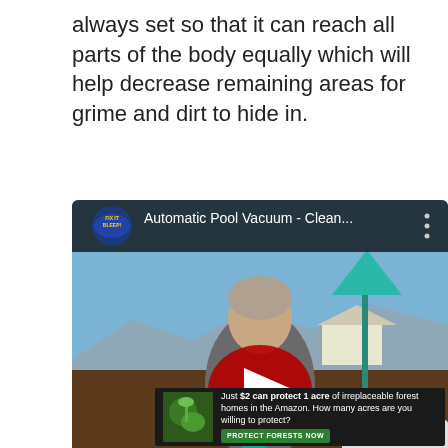always set so that it can reach all parts of the body equally which will help decrease remaining areas for grime and dirt to hide in.
[Figure (screenshot): YouTube video embed showing a man in a grey t-shirt standing outdoors near a pool, with a teal umbrella in the background. Video title: 'Automatic Pool Vacuum - Clean...' with a red YouTube play button overlay and 'FIX IT BLEEP!' channel logo.]
[Figure (photo): Advertisement banner: 'Just $2 can protect 1 acre of irreplaceable forest homes in the Amazon. How many acres are you willing to protect?' with a green 'PROTECT FORESTS NOW' button.]